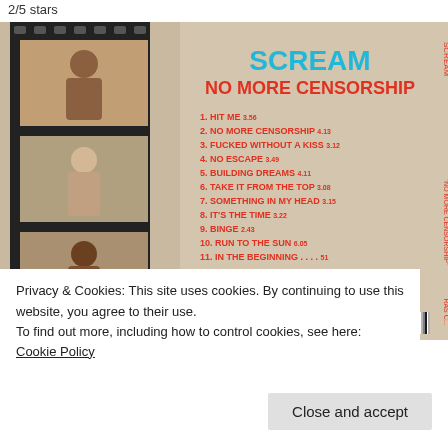2/5 stars
[Figure (photo): Album back cover of Scream 'No More Censorship' (1988 RAS Records). Shows film strip with three photos of band members on left, track listing in red text on beige/cream background: 1. HIT ME 3.56, 2. NO MORE CENSORSHIP 4.13, 3. FUCKED WITHOUT A KISS 3.12, 4. NO ESCAPE 3.49, 5. BUILDING DREAMS 4.11, 6. TAKE IT FROM THE TOP 3.08, 7. SOMETHING IN MY HEAD 3.15, 8. IT'S THE TIME 3.22, 9. BINGE 2.43, 10. RUN TO THE SUN 6.05, 11. IN THE BEGINNING....51. Artist name SCREAM in teal at top, subtitle NO MORE CENSORSHIP in red. RAS Records info and barcode at bottom.]
Privacy & Cookies: This site uses cookies. By continuing to use this website, you agree to their use.
To find out more, including how to control cookies, see here: Cookie Policy
Close and accept